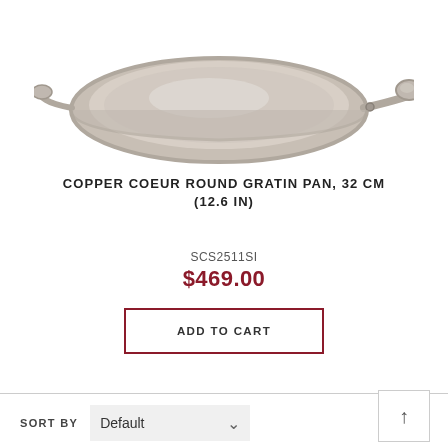[Figure (photo): A stainless steel round gratin pan with a helper handle, photographed from above at a slight angle on a white background.]
COPPER COEUR ROUND GRATIN PAN, 32 CM (12.6 IN)
SCS2511SI
$469.00
ADD TO CART